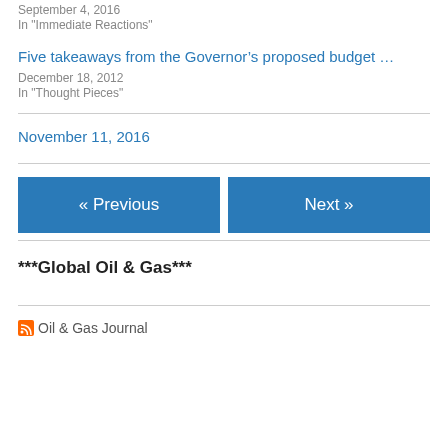September 4, 2016
In "Immediate Reactions"
Five takeaways from the Governor's proposed budget …
December 18, 2012
In "Thought Pieces"
November 11, 2016
« Previous
Next »
***Global Oil & Gas***
Oil & Gas Journal